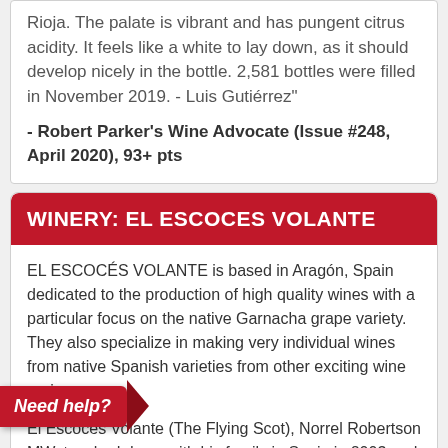Rioja. The palate is vibrant and has pungent citrus acidity. It feels like a white to lay down, as it should develop nicely in the bottle. 2,581 bottles were filled in November 2019. - Luis Gutiérrez"
- Robert Parker's Wine Advocate (Issue #248, April 2020), 93+ pts
WINERY: EL ESCOCES VOLANTE
EL ESCOCÉS VOLANTE is based in Aragón, Spain dedicated to the production of high quality wines with a particular focus on the native Garnacha grape variety. They also specialize in making very individual wines from native Spanish varieties from other exciting wine regions.
El Escocés Volante (The Flying Scot), Norrel Robertson MW, touched down with his family in Spain in 2003 and released his first wine in 2004.
...03
...ertson